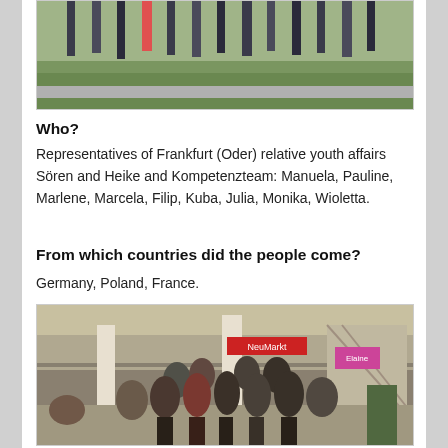[Figure (photo): Group of people standing outdoors on grass, partially cropped at top]
Who?
Representatives of Frankfurt (Oder) relative youth affairs Sören and Heike and Kompetenzteam: Manuela, Pauline, Marlene, Marcela, Filip, Kuba, Julia, Monika, Wioletta.
From which countries did the people come?
Germany, Poland, France.
[Figure (photo): Group of teenagers and young adults posing together inside a shopping mall with escalators and shops visible in background]